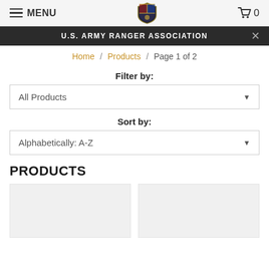MENU  [shield logo]  0
U.S. ARMY RANGER ASSOCIATION
Home / Products / Page 1 of 2
Filter by:
All Products
Sort by:
Alphabetically: A-Z
PRODUCTS
[Figure (other): Two product image placeholder cards (light gray rectangles)]